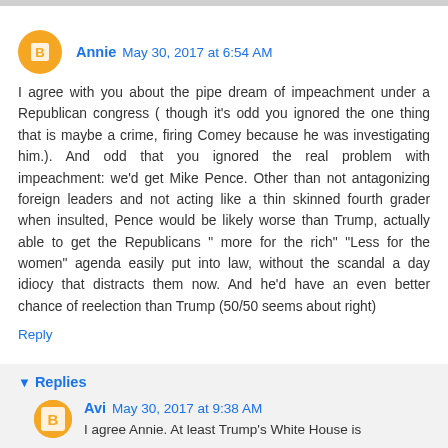Annie May 30, 2017 at 6:54 AM
I agree with you about the pipe dream of impeachment under a Republican congress ( though it's odd you ignored the one thing that is maybe a crime, firing Comey because he was investigating him.). And odd that you ignored the real problem with impeachment: we'd get Mike Pence. Other than not antagonizing foreign leaders and not acting like a thin skinned fourth grader when insulted, Pence would be likely worse than Trump, actually able to get the Republicans " more for the rich" "Less for the women" agenda easily put into law, without the scandal a day idiocy that distracts them now. And he'd have an even better chance of reelection than Trump (50/50 seems about right)
Reply
Replies
Avi May 30, 2017 at 9:38 AM
I agree Annie. At least Trump's White House is